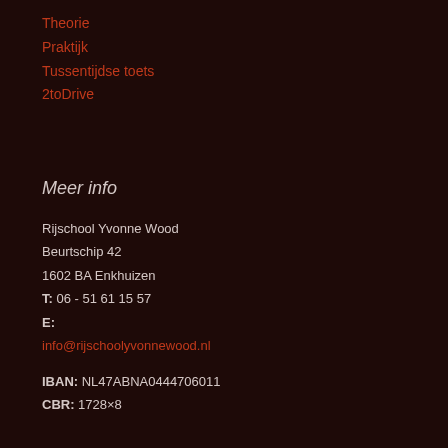Theorie
Praktijk
Tussentijdse toets
2toDrive
Meer info
Rijschool Yvonne Wood
Beurtschip 42
1602 BA Enkhuizen
T: 06 - 51 61 15 57
E:
info@rijschoolyvonnewood.nl
IBAN: NL47ABNA0444706011
CBR: 1728×8